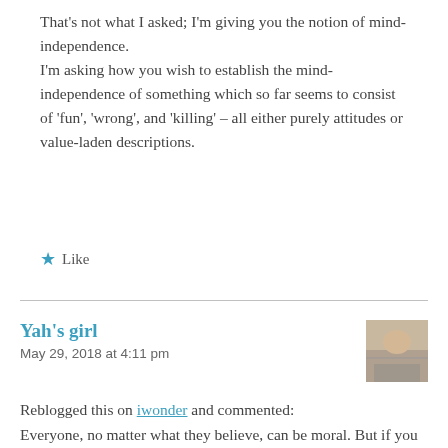That's not what I asked; I'm giving you the notion of mind-independence.
I'm asking how you wish to establish the mind-independence of something which so far seems to consist of 'fun', 'wrong', and 'killing' – all either purely attitudes or value-laden descriptions.
Like
Yah's girl
May 29, 2018 at 4:11 pm
Reblogged this on iwonder and commented:
Everyone, no matter what they believe, can be moral. But if you are an Athiest, I ask on what is this morality based